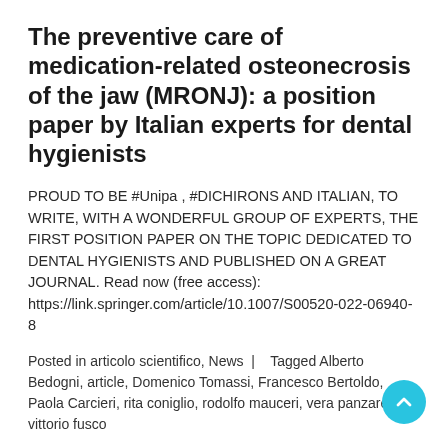The preventive care of medication-related osteonecrosis of the jaw (MRONJ): a position paper by Italian experts for dental hygienists
PROUD TO BE #Unipa , #DICHIRONS AND ITALIAN, TO WRITE, WITH A WONDERFUL GROUP OF EXPERTS, THE FIRST POSITION PAPER ON THE TOPIC DEDICATED TO DENTAL HYGIENISTS AND PUBLISHED ON A GREAT JOURNAL. Read now (free access): https://link.springer.com/article/10.1007/S00520-022-06940-8
Posted in articolo scientifico, News  |   Tagged Alberto Bedogni, article, Domenico Tomassi, Francesco Bertoldo, Paola Carcieri, rita coniglio, rodolfo mauceri, vera panzarella, vittorio fusco